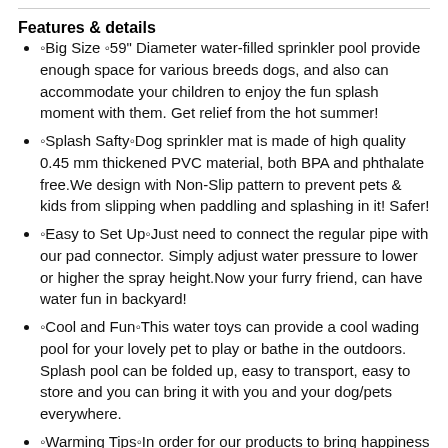Features & details
🔷Big Size 🔷59" Diameter water-filled sprinkler pool provide enough space for various breeds dogs, and also can accommodate your children to enjoy the fun splash moment with them. Get relief from the hot summer!
🔷Splash Safty🔷Dog sprinkler mat is made of high quality 0.45 mm thickened PVC material, both BPA and phthalate free.We design with Non-Slip pattern to prevent pets & kids from slipping when paddling and splashing in it! Safer!
🔷Easy to Set Up🔷Just need to connect the regular pipe with our pad connector. Simply adjust water pressure to lower or higher the spray height.Now your furry friend, can have water fun in backyard!
🔷Cool and Fun🔷This water toys can provide a cool wading pool for your lovely pet to play or bathe in the outdoors. Splash pool can be folded up, easy to transport, easy to store and you can bring it with you and your dog/pets everywhere.
🔷Warming Tips🔷In order for our products to bring happiness to your dog for a long time, Please TRIM your dogs' nails